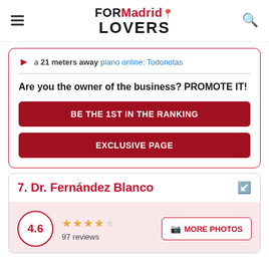FORMadridLOVERS
a 21 meters away piano online: Todonotas
Are you the owner of the business? PROMOTE IT!
BE THE 1ST IN THE RANKING
EXCLUSIVE PAGE
7. Dr. Fernández Blanco
4.6  97 reviews  MORE PHOTOS